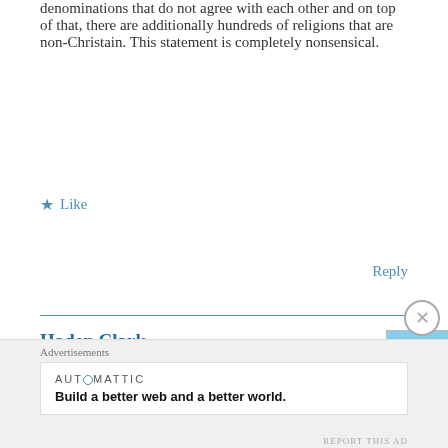denominations that do not agree with each other and on top of that, there are additionally hundreds of religions that are non-Christain. This statement is completely nonsensical.
★ Like
Reply
Haden Clark
June 16, 2018 at 11:28 pm
1. If you do something immoral, you've transgressed.
2. All of those denominations/religions are theistic
Advertisements
AUTOMATTIC
Build a better web and a better world.